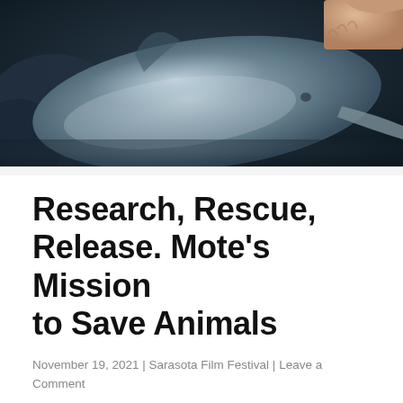[Figure (photo): Close-up photograph of a dolphin being handled by a person, showing the dolphin's smooth gray body with a glossy sheen, against a dark background. A human hand is visible at the top right of the image.]
Research, Rescue, Release. Mote's Mission to Save Animals
November 19, 2021 | Sarasota Film Festival | Leave a Comment
Produced at the Harrison School for the Arts